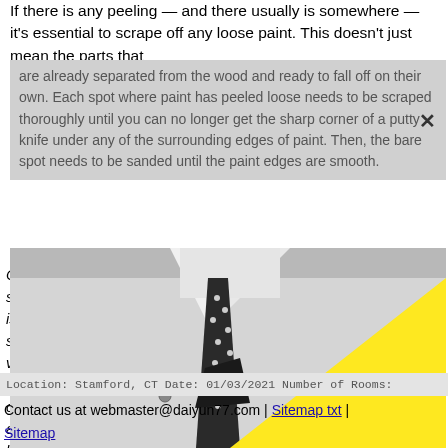If there is any peeling — and there usually is somewhere — it's essential to scrape off any loose paint. This doesn't just mean the parts that
are already separated from the wood and ready to fall off on their own. Each spot where paint has peeled loose needs to be scraped thoroughly until you can no longer get the sharp corner of a putty knife under any of the surrounding edges of paint. Then, the bare spot needs to be sanded until the paint edges are smooth.
[Figure (photo): Black and white photo of a man in a white shirt with a polka-dot tie, overlaid with a large yellow triangle shape.]
Climate ... in and salty w... paint is dura... but sunlight... eds very th... me more c... ly dry climate... d be avoided... le binder...
Location: Stamford, CT Date: 01/03/2021 Number of Rooms:
Contact us at webmaster@daiyun77.com | Sitemap txt | Sitemap